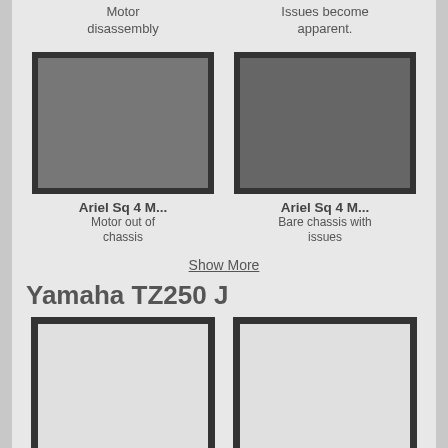Motor disassembly
Issues become apparent.
[Figure (photo): Ariel Sq 4 motorcycle engine removed from chassis, sitting on a workbench]
[Figure (photo): Ariel Sq 4 bare motorcycle chassis with visible issues]
Ariel Sq 4 M...
Motor out of chassis
Ariel Sq 4 M...
Bare chassis with issues
Show More
Yamaha TZ250 J
[Figure (photo): Empty/loading photo placeholder]
[Figure (photo): Empty/loading photo placeholder]